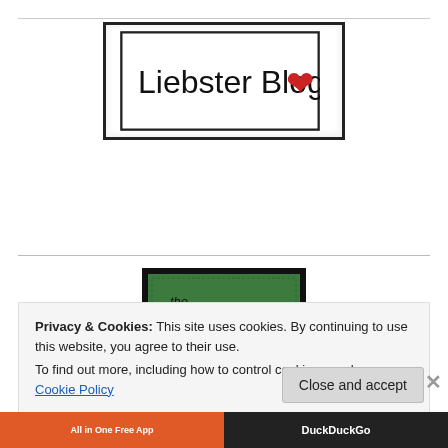[Figure (illustration): Liebster Blog award badge with black border, handwritten-style text 'Liebster Blog' and a red heart icon on white background]
[Figure (illustration): LOL Award badge: black-bordered square with green background, handwritten text 'the LOL Award' and URL 'http://twysie.com']
Privacy & Cookies: This site uses cookies. By continuing to use this website, you agree to their use.
To find out more, including how to control cookies, see here: Cookie Policy
[Figure (screenshot): Bottom browser bar showing 'All in One Free App' on orange background left and 'DuckDuckGo' on dark background right]